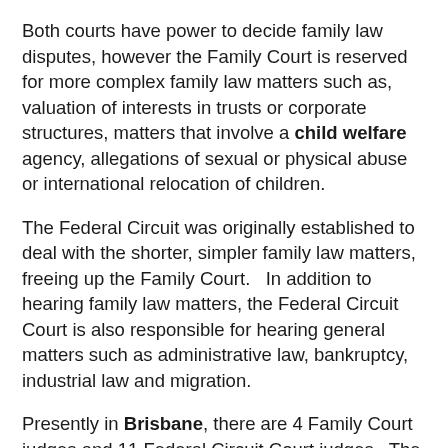Both courts have power to decide family law disputes, however the Family Court is reserved for more complex family law matters such as, valuation of interests in trusts or corporate structures, matters that involve a child welfare agency, allegations of sexual or physical abuse or international relocation of children.
The Federal Circuit was originally established to deal with the shorter, simpler family law matters, freeing up the Family Court.   In addition to hearing family law matters, the Federal Circuit Court is also responsible for hearing general matters such as administrative law, bankruptcy, industrial law and migration.
Presently in Brisbane, there are 4 Family Court judges and 11 Federal Circuit Court judges.  The merger will see judges from the Family Court hear family law matters, while Federal Circuit Court judges will continue to hear family and general matters.  Over time however, all judges will hear both family